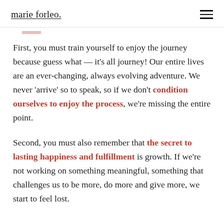marie forleo.
First, you must train yourself to enjoy the journey because guess what — it's all journey! Our entire lives are an ever-changing, always evolving adventure. We never 'arrive' so to speak, so if we don't condition ourselves to enjoy the process, we're missing the entire point.
Second, you must also remember that the secret to lasting happiness and fulfillment is growth. If we're not working on something meaningful, something that challenges us to be more, do more and give more, we start to feel lost.